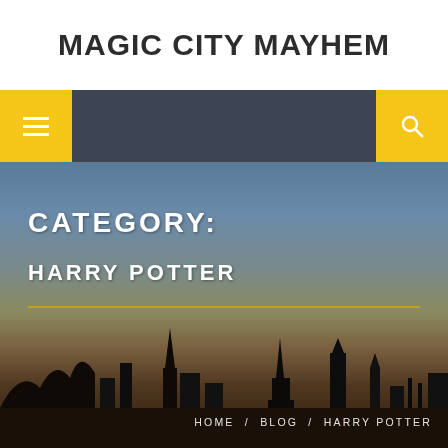MAGIC CITY MAYHEM
[Figure (screenshot): Website screenshot showing Magic City Mayhem blog header with navigation bar (hamburger menu on left, search icon on right, dark gray background), and a hero image featuring a dusk city/theme park silhouette with category heading 'CATEGORY: HARRY POTTER' and breadcrumb navigation 'HOME / BLOG / HARRY POTTER']
CATEGORY:
HARRY POTTER
HOME  BLOG  HARRY POTTER